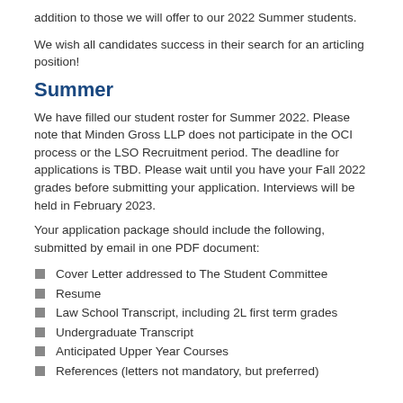addition to those we will offer to our 2022 Summer students.
We wish all candidates success in their search for an articling position!
Summer
We have filled our student roster for Summer 2022. Please note that Minden Gross LLP does not participate in the OCI process or the LSO Recruitment period. The deadline for applications is TBD. Please wait until you have your Fall 2022 grades before submitting your application. Interviews will be held in February 2023.
Your application package should include the following, submitted by email in one PDF document:
Cover Letter addressed to The Student Committee
Resume
Law School Transcript, including 2L first term grades
Undergraduate Transcript
Anticipated Upper Year Courses
References (letters not mandatory, but preferred)